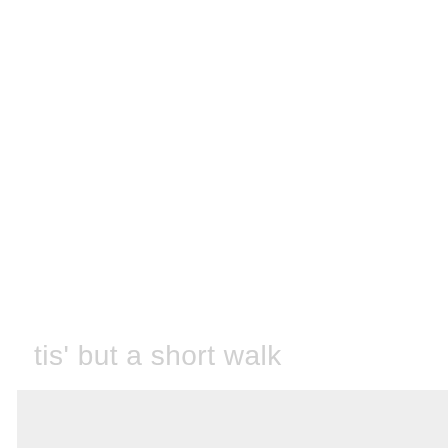tis' but a short walk
[Figure (other): Light gray rectangular bar at the bottom of the page]